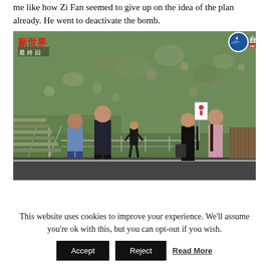me like how Zi Fan seemed to give up on the idea of the plan already. He went to deactivate the bomb.
[Figure (screenshot): Screenshot from a Taiwanese TV drama (台視 channel 4 HD, 新世界 最終回). Five people standing on a road facing a hillside with rocks and grass. One person stands alone in the middle distance facing the group. Stairs visible on the left, a sign on the right.]
This website uses cookies to improve your experience. We'll assume you're ok with this, but you can opt-out if you wish.